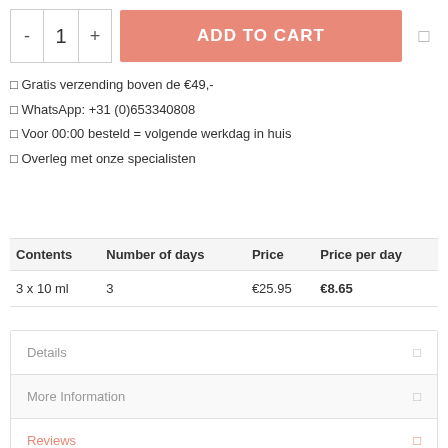- 1 + ADD TO CART
✓ Gratis verzending boven de €49,-
✓ WhatsApp: +31 (0)653340808
✓ Voor 00:00 besteld = volgende werkdag in huis
✓ Overleg met onze specialisten
| Contents | Number of days | Price | Price per day |
| --- | --- | --- | --- |
| 3 x 10 ml | 3 | €25.95 | €8.65 |
Details
More Information
Reviews